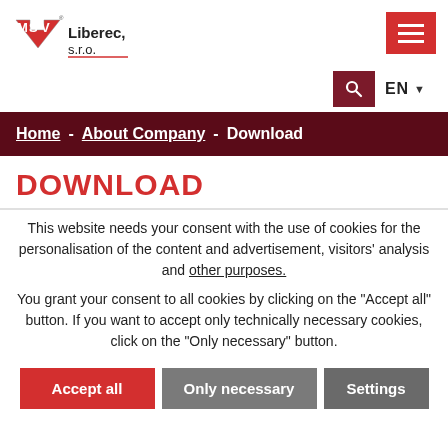[Figure (logo): MSV Liberec s.r.o. company logo with red arrow and text]
[Figure (other): Red hamburger menu button with three white horizontal lines]
[Figure (other): Dark red search icon button and EN language selector with dropdown arrow]
Home - About Company - Download
DOWNLOAD
This website needs your consent with the use of cookies for the personalisation of the content and advertisement, visitors' analysis and other purposes.
You grant your consent to all cookies by clicking on the "Accept all" button. If you want to accept only technically necessary cookies, click on the "Only necessary" button.
Accept all | Only necessary | Settings